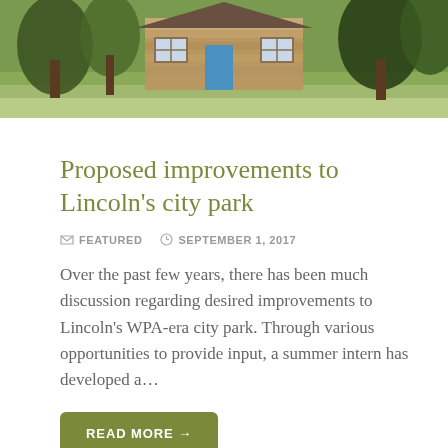[Figure (photo): Exterior photo of a stone/log cabin building in a park setting with trees and green lawn]
Proposed improvements to Lincoln's city park
FEATURED   SEPTEMBER 1, 2017
Over the past few years, there has been much discussion regarding desired improvements to Lincoln's WPA-era city park. Through various opportunities to provide input, a summer intern has developed a…
READ MORE →
[Figure (photo): Photo of several people (faces/portraits) in a group setting]